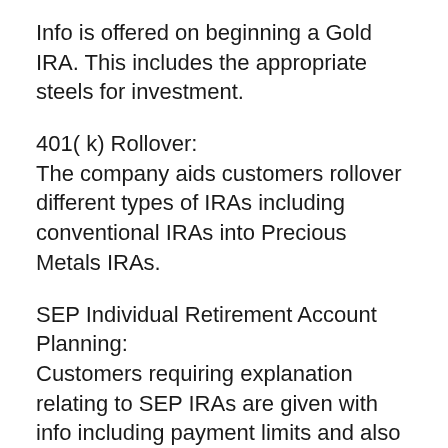Info is offered on beginning a Gold IRA. This includes the appropriate steels for investment.
401( k) Rollover:
The company aids customers rollover different types of IRAs including conventional IRAs into Precious Metals IRAs.
SEP Individual Retirement Account Planning:
Customers requiring explanation relating to SEP IRAs are given with info including payment limits and also qualification requirements.
Roth and Conventional IRA Planning:
Understanding as well as resources are offered to contrast a typical individual...